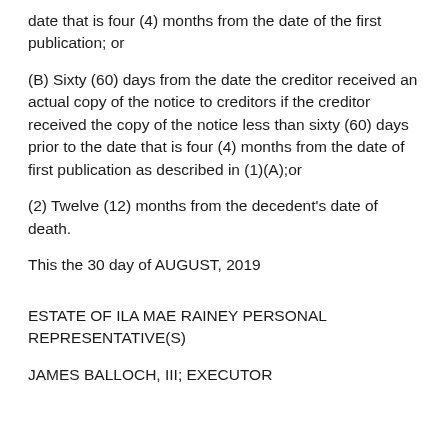date that is four (4) months from the date of the first publication; or
(B) Sixty (60) days from the date the creditor received an actual copy of the notice to creditors if the creditor received the copy of the notice less than sixty (60) days prior to the date that is four (4) months from the date of first publication as described in (1)(A);or
(2) Twelve (12) months from the decedent's date of death.
This the 30 day of AUGUST, 2019
ESTATE OF ILA MAE RAINEY PERSONAL REPRESENTATIVE(S)
JAMES BALLOCH, III; EXECUTOR